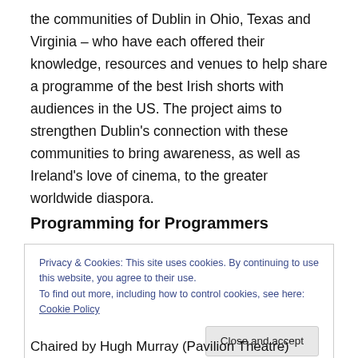the communities of Dublin in Ohio, Texas and Virginia – who have each offered their knowledge, resources and venues to help share a programme of the best Irish shorts with audiences in the US. The project aims to strengthen Dublin's connection with these communities to bring awareness, as well as Ireland's love of cinema, to the greater worldwide diaspora.
Programming for Programmers
Privacy & Cookies: This site uses cookies. By continuing to use this website, you agree to their use.
To find out more, including how to control cookies, see here: Cookie Policy
Close and accept
Chaired by Hugh Murray (Pavilion Theatre)